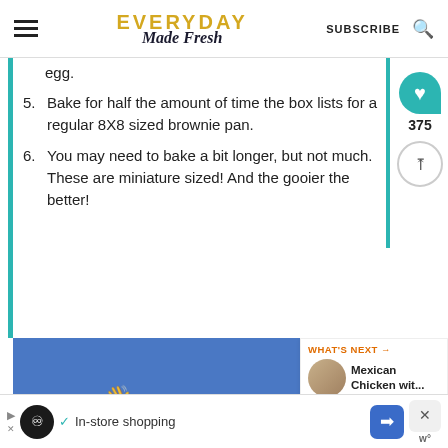EVERYDAY Made Fresh | SUBSCRIBE
egg.
5. Bake for half the amount of time the box lists for a regular 8X8 sized brownie pan.
6. You may need to bake a bit longer, but not much. These are miniature sized! And the gooier the better!
[Figure (other): Advertisement banner with blue background, teal bump shape, and wing/chevron icons]
WHAT'S NEXT → Mexican Chicken wit...
375
[Figure (other): Bottom advertisement bar with logo, In-store shopping text, navigation icon, and close button]